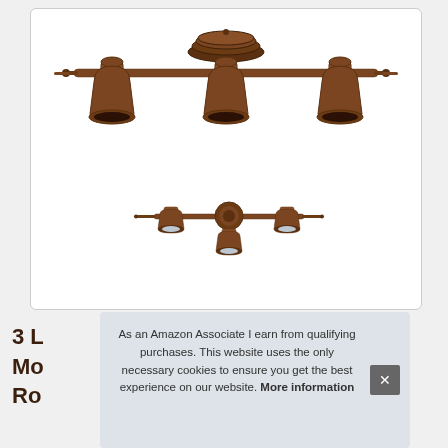[Figure (photo): Product photo of a 3-light track lighting fixture in oil-rubbed bronze finish. Top large image shows the fixture from below with three bell-shaped lamp heads on a horizontal bar with a central ceiling mount. Bottom smaller image shows the same fixture from a different angle, appearing as small spotlight heads.]
3 L
Mo
Ro
As an Amazon Associate I earn from qualifying purchases. This website uses the only necessary cookies to ensure you get the best experience on our website. More information